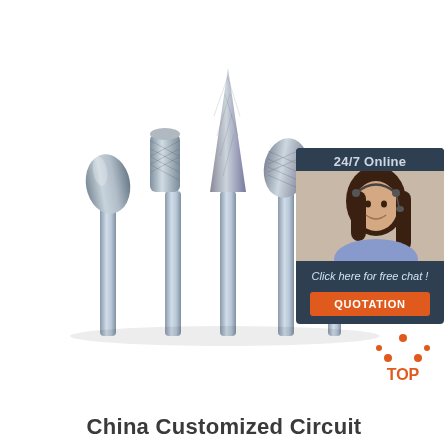[Figure (photo): Five carbide rotary burr bits with different head shapes (oval taper, cylinder, cone, rounded, ball) arranged side by side on white background, with chrome steel shanks]
[Figure (infographic): Dark blue chat panel with '24/7 Online' header, photo of smiling female customer service rep with headset, italic text 'Click here for free chat !', and orange 'QUOTATION' button]
[Figure (logo): Orange triangle/house dotted logo with 'TOP' text in orange below it]
China Customized Circuit